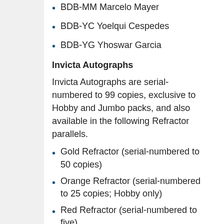BDB-MM Marcelo Mayer
BDB-YC Yoelqui Cespedes
BDB-YG Yhoswar Garcia
Invicta Autographs
Invicta Autographs are serial-numbered to 99 copies, exclusive to Hobby and Jumbo packs, and also available in the following Refractor parallels.
Gold Refractor (serial-numbered to 50 copies)
Orange Refractor (serial-numbered to 25 copies; Hobby only)
Red Refractor (serial-numbered to five)
SuperFractor (one-of-one)